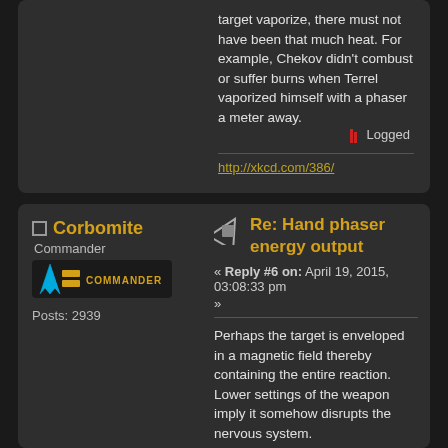target vaporize, there must not have been that much heat. For example, Chekov didn't combust or suffer burns when Terrel vaporized himself with a phaser a meter away.
Logged
http://xkcd.com/386/
Corbomite
Commander
Posts: 2939
Re: Hand phaser energy output
« Reply #6 on: April 19, 2015, 03:08:33 pm
»
Perhaps the target is enveloped in a magnetic field thereby containing the entire reaction. Lower settings of the weapon imply it somehow disrupts the nervous system.